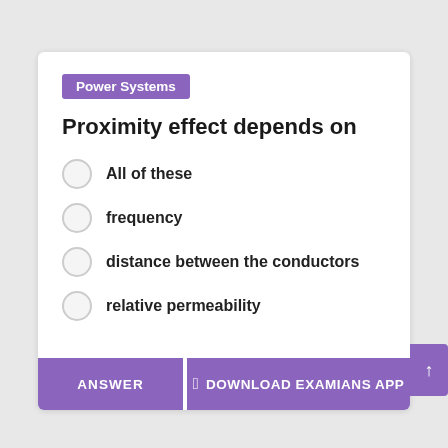Power Systems
Proximity effect depends on
All of these
frequency
distance between the conductors
relative permeability
ANSWER
DOWNLOAD EXAMIANS APP